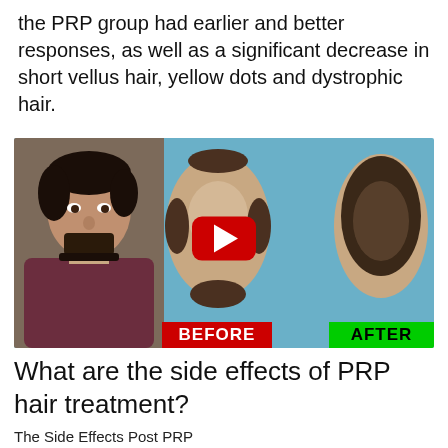the PRP group had earlier and better responses, as well as a significant decrease in short vellus hair, yellow dots and dystrophic hair.
[Figure (photo): YouTube video thumbnail showing a before/after comparison of PRP hair treatment. Left: man with beard looking skeptical. Center: top-down view of balding head (BEFORE). Right: top-down view of head with short hair (AFTER). A red YouTube play button is overlaid in the center.]
What are the side effects of PRP hair treatment?
The Side Effects Post PRP